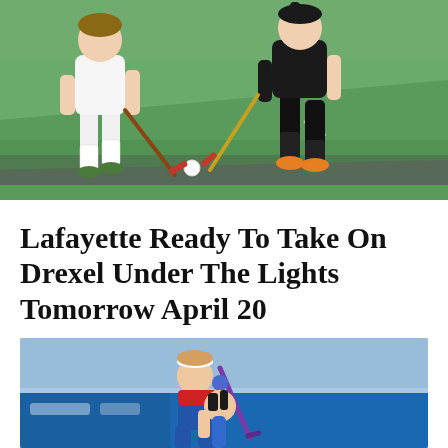[Figure (photo): Two field hockey players running on a green turf field. The player on the left wears a white uniform with white knee socks and green shoes. The player on the right wears a black uniform with orange shoes and holds a field hockey stick. Water spray is visible around the players.]
Lafayette Ready To Take On Drexel Under The Lights Tomorrow April 20
[Figure (photo): Two field hockey players in close contact during a game. One player wears a blue and red uniform with a white headband and holds a purple field hockey stick. A blue advertising board is visible in the background.]